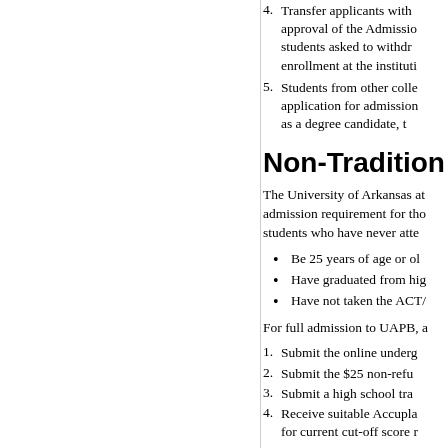4. Transfer applicants with approval of the Admissio... students asked to withdr... enrollment at the instituti...
5. Students from other colle... application for admission... as a degree candidate, t...
Non-Traditio...
The University of Arkansas at admission requirement for tho... students who have never atte...
Be 25 years of age or ol...
Have graduated from hig...
Have not taken the ACT/...
For full admission to UAPB, a...
1. Submit the online underg...
2. Submit the $25 non-refu...
3. Submit a high school tra...
4. Receive suitable Accupla... for current cut-off score r...